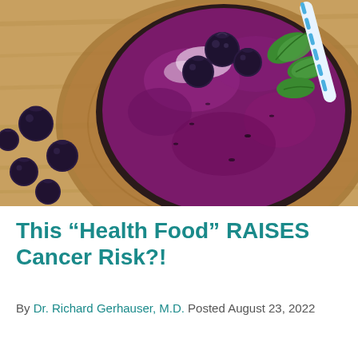[Figure (photo): Overhead photo of a purple blueberry smoothie bowl in a dark glass, topped with fresh blueberries and green mint/basil leaves, with a blue and white striped straw, set on a wooden board with loose blueberries scattered around on a light wood surface.]
This “Health Food” RAISES Cancer Risk?!
By Dr. Richard Gerhauser, M.D. Posted August 23, 2022